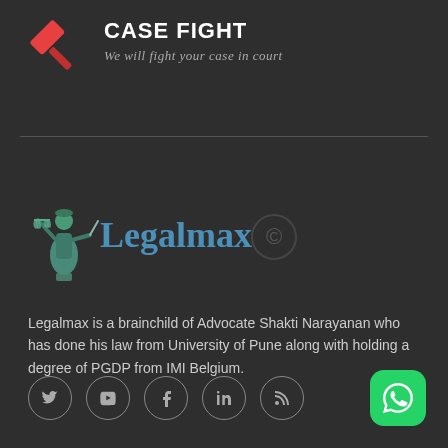[Figure (logo): Red hammer/gavel icon for Case Fight service]
CASE FIGHT
We will fight your case in court
[Figure (logo): Legalmax logo with Lady Justice statue and blue Legalmax text with copyright symbol]
Legalmax is a brainchild of Advocate Shakti Narayanan who has done his law from University of Pune along with holding a degree of PGDP from IMI Belgium.
[Figure (illustration): Social media icons row: Twitter, YouTube, Facebook, LinkedIn, RSS feed - all in circular outlines]
[Figure (logo): WhatsApp green rounded square button icon]